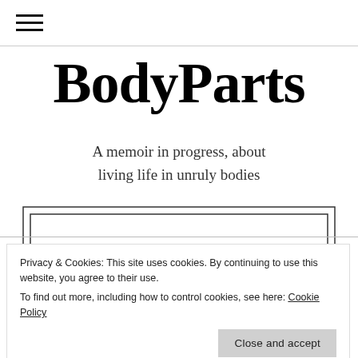☰ (navigation menu icon)
BodyParts
A memoir in progress, about living life in unruly bodies
[Figure (other): Decorative book/image widget with double-border rectangle frame]
Privacy & Cookies: This site uses cookies. By continuing to use this website, you agree to their use.
To find out more, including how to control cookies, see here: Cookie Policy
that all our counterparts will